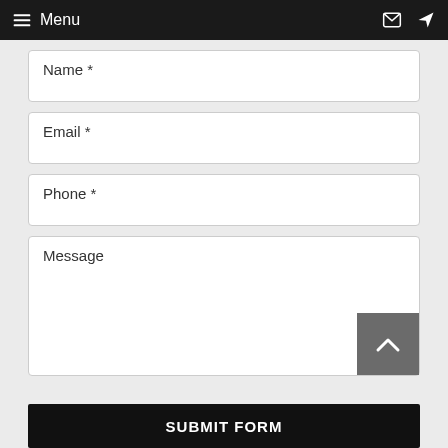≡ Menu
Name *
Email *
Phone *
Message
SUBMIT FORM